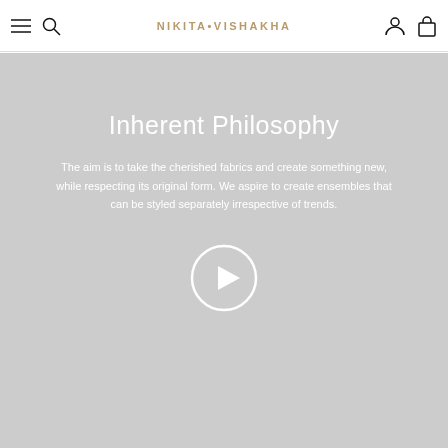NIKITA·VISHAKHA
Inherent Philosophy
The aim is to take the cherished fabrics and create something new, while respecting its original form. We aspire to create ensembles that can be styled separately irrespective of trends.
[Figure (other): Play button circle icon for video playback]